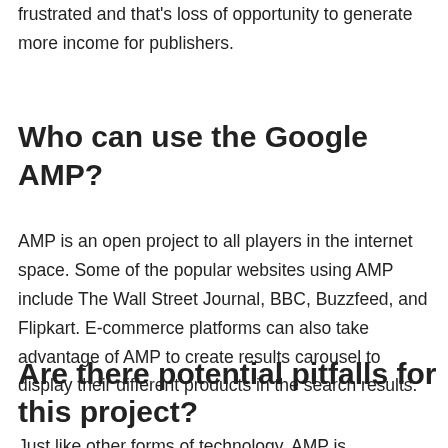frustrated and that's loss of opportunity to generate more income for publishers.
Who can use the Google AMP?
AMP is an open project to all players in the internet space. Some of the popular websites using AMP include The Wall Street Journal, BBC, Buzzfeed, and Flipkart. E-commerce platforms can also take advantage of AMP to create results carousel to display their different products in the search results.
Are there potential pitfalls for this project?
Just like other forms of technology, AMP is